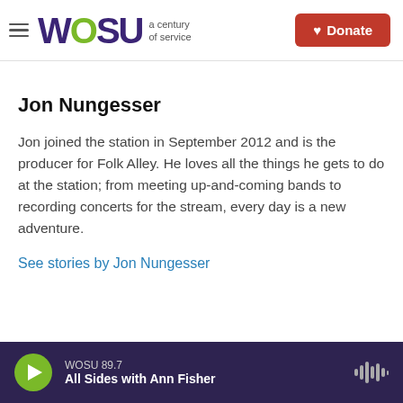WOSU a century of service | Donate
Jon Nungesser
Jon joined the station in September 2012 and is the producer for Folk Alley. He loves all the things he gets to do at the station; from meeting up-and-coming bands to recording concerts for the stream, every day is a new adventure.
See stories by Jon Nungesser
WOSU 89.7 All Sides with Ann Fisher